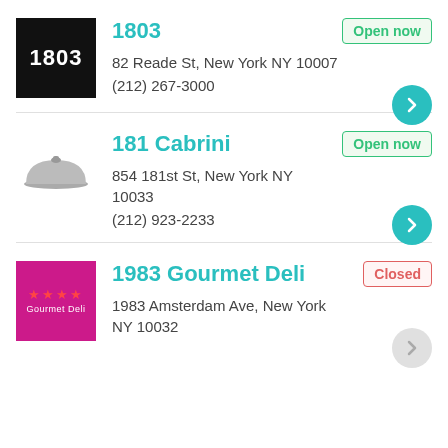[Figure (logo): 1803 logo - white text on black background]
1803
Open now
82 Reade St, New York NY 10007
(212) 267-3000
[Figure (logo): 181 Cabrini restaurant icon - serving dish/cloche silhouette]
181 Cabrini
Open now
854 181st St, New York NY 10033
(212) 923-2233
[Figure (logo): 1983 Gourmet Deli logo - pink/magenta background with stars and text]
1983 Gourmet Deli
Closed
1983 Amsterdam Ave, New York NY 10032